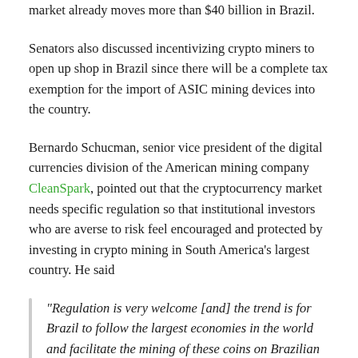market already moves more than $40 billion in Brazil.
Senators also discussed incentivizing crypto miners to open up shop in Brazil since there will be a complete tax exemption for the import of ASIC mining devices into the country.
Bernardo Schucman, senior vice president of the digital currencies division of the American mining company CleanSpark, pointed out that the cryptocurrency market needs specific regulation so that institutional investors who are averse to risk feel encouraged and protected by investing in crypto mining in South America's largest country. He said
“Regulation is very welcome [and] the trend is for Brazil to follow the largest economies in the world and facilitate the mining of these coins on Brazilian soil.”
Related: Brazilian central bank president confirms